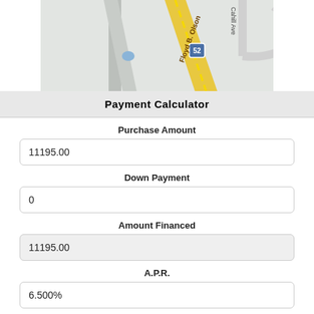[Figure (map): Street map showing Floyd B. Olson road (highlighted in yellow), route 52, Cahill Ave, and Old Cu... road intersection area.]
Payment Calculator
Purchase Amount
11195.00
Down Payment
0
Amount Financed
11195.00
A.P.R.
6.500%
Term